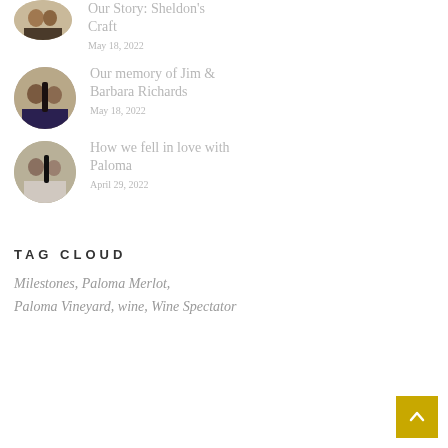[Figure (photo): Circular photo of people, partially visible at top of page]
Our Story: Sheldon's Craft
May 18, 2022
[Figure (photo): Circular photo of Jim and Barbara Richards holding wine bottle and glasses]
Our memory of Jim & Barbara Richards
May 18, 2022
[Figure (photo): Circular photo of couple holding wine bottle]
How we fell in love with Paloma
April 29, 2022
TAG CLOUD
Milestones, Paloma Merlot, Paloma Vineyard, wine, Wine Spectator